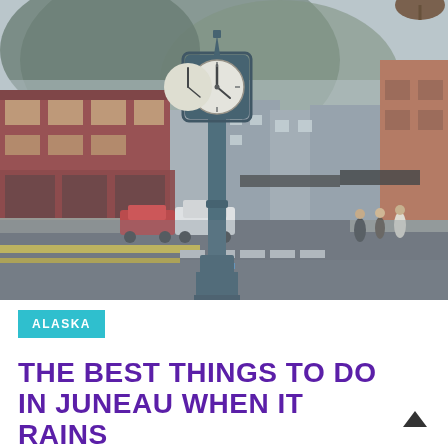[Figure (photo): Street scene in downtown Juneau, Alaska on a rainy day. A large ornate dark teal clock on a tall pole stands in the center foreground at an intersection. Red brick historic storefronts line the left side of the wet street, with shops and parked cars visible. Mountains shrouded in mist and clouds rise in the background. Pedestrians walk on the right side. The street has yellow and blue crosswalk markings.]
ALASKA
THE BEST THINGS TO DO IN JUNEAU WHEN IT RAINS